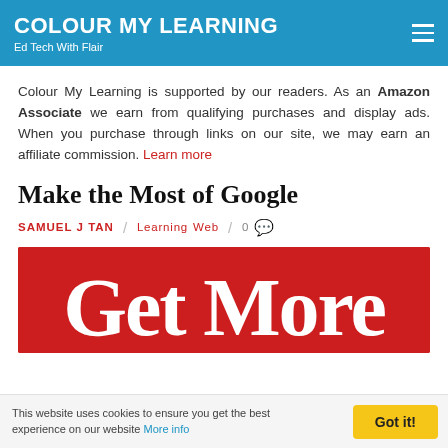COLOUR MY LEARNING — Ed Tech With Flair
Colour My Learning is supported by our readers. As an Amazon Associate we earn from qualifying purchases and display ads. When you purchase through links on our site, we may earn an affiliate commission. Learn more
Make the Most of Google
SAMUEL J TAN / Learning Web / 0
[Figure (illustration): Red banner with white bold text reading 'Get More']
This website uses cookies to ensure you get the best experience on our website More info — Got it!